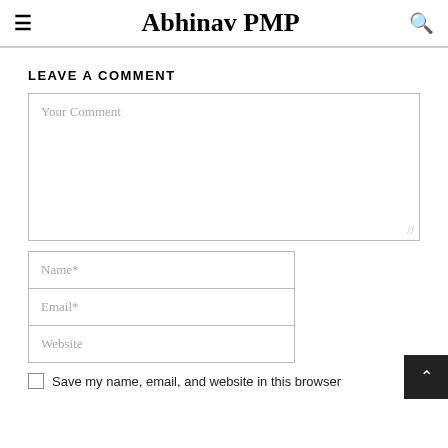Abhinav PMP
LEAVE A COMMENT
Your Comment
Name*
Email*
Website
Save my name, email, and website in this browser